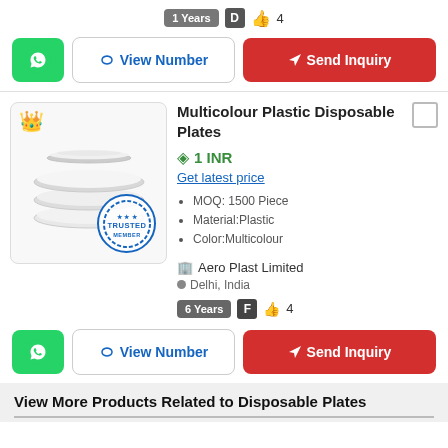1 Years  D  👍 4
WhatsApp | View Number | Send Inquiry
[Figure (photo): Stack of white disposable plastic plates with crown icon and trusted stamp]
Multicolour Plastic Disposable Plates
1 INR
Get latest price
MOQ: 1500 Piece
Material:Plastic
Color:Multicolour
Aero Plast Limited
Delhi, India
6 Years  F  👍 4
WhatsApp | View Number | Send Inquiry
View More Products Related to Disposable Plates